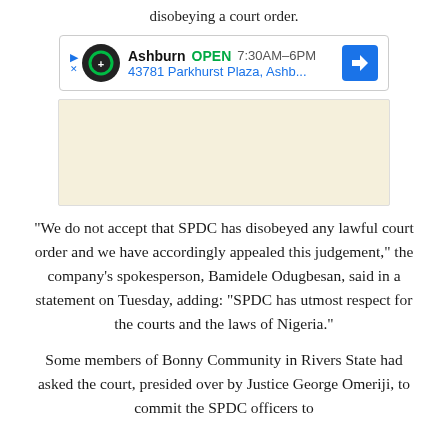disobeying a court order.
[Figure (other): Advertisement banner showing Tires Plus Auto store in Ashburn, OPEN 7:30AM–6PM, 43781 Parkhurst Plaza, Ashb..., with navigation arrow button]
“We do not accept that SPDC has disobeyed any lawful court order and we have accordingly appealed this judgement,” the company’s spokesperson, Bamidele Odugbesan, said in a statement on Tuesday, adding: “SPDC has utmost respect for the courts and the laws of Nigeria.”
Some members of Bonny Community in Rivers State had asked the court, presided over by Justice George Omeriji, to commit the SPDC officers to